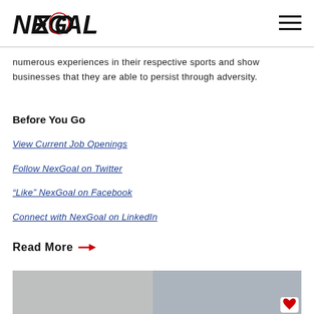NexGoal
numerous experiences in their respective sports and show businesses that they are able to persist through adversity.
Before You Go
View Current Job Openings
Follow NexGoal on Twitter
“Like” NexGoal on Facebook
Connect with NexGoal on LinkedIn
Read More →
[Figure (photo): Bottom portion of a photo showing people in a business setting, partially cut off at bottom of page]